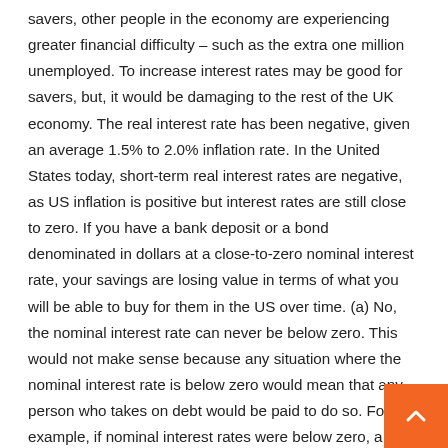savers, other people in the economy are experiencing greater financial difficulty – such as the extra one million unemployed. To increase interest rates may be good for savers, but, it would be damaging to the rest of the UK economy. The real interest rate has been negative, given an average 1.5% to 2.0% inflation rate. In the United States today, short-term real interest rates are negative, as US inflation is positive but interest rates are still close to zero. If you have a bank deposit or a bond denominated in dollars at a close-to-zero nominal interest rate, your savings are losing value in terms of what you will be able to buy for them in the US over time. (a) No, the nominal interest rate can never be below zero. This would not make sense because any situation where the nominal interest rate is below zero would mean that any person who takes on debt would be paid to do so. For example, if nominal interest rates were below zero, a bank would pay a homeowner to take out a mortgage. When negative interest rates are in place, investors tend to search for better returns in foreign markets, which influences a decrease in their country's currency valuation. However, if